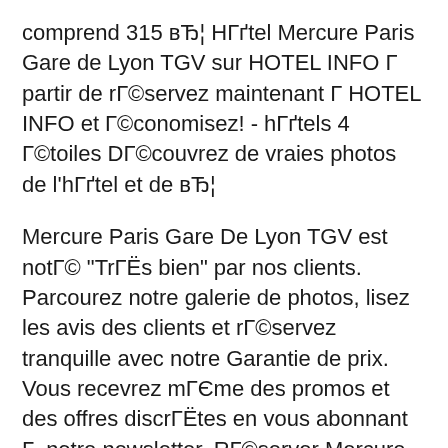comprend 315 вЂ¦ НГґtel Mercure Paris Gare de Lyon TGV sur HOTEL INFO Г partir de rГ©servez maintenant Г HOTEL INFO et Г©conomisez! - hГґtels 4 Г©toiles DГ©couvrez de vraies photos de l'hГґtel et de вЂ¦
Mercure Paris Gare De Lyon TGV est notГ© "TrГЁs bien" par nos clients. Parcourez notre galerie de photos, lisez les avis des clients et rГ©servez tranquille avec notre Garantie de prix. Vous recevrez mГЄme des promos et des offres discrГЁtes en vous abonnant Г  notre newsletter. RГ©server Mercure Paris Gare de Lyon TGV, Paris sur TripAdvisor : consultez les 2 695 avis de voyageurs, 507 photos, et les